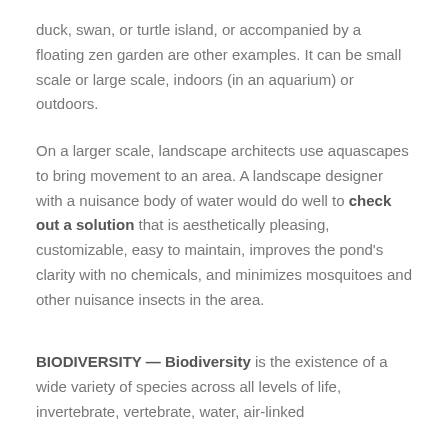duck, swan, or turtle island, or accompanied by a floating zen garden are other examples. It can be small scale or large scale, indoors (in an aquarium) or outdoors.
On a larger scale, landscape architects use aquascapes to bring movement to an area. A landscape designer with a nuisance body of water would do well to check out a solution that is aesthetically pleasing, customizable, easy to maintain, improves the pond's clarity with no chemicals, and minimizes mosquitoes and other nuisance insects in the area.
BIODIVERSITY — Biodiversity is the existence of a wide variety of species across all levels of life, invertebrate, vertebrate, water, air-linked...